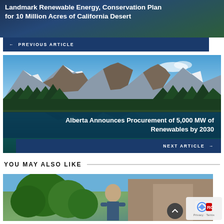Landmark Renewable Energy, Conservation Plan for 10 Million Acres of California Desert
← PREVIOUS ARTICLE
[Figure (photo): Mountain lake with snow-capped peaks, forested slopes, and calm reflective water (Moraine Lake, Banff, Canada)]
Alberta Announces Procurement of 5,000 MW of Renewables by 2030
NEXT ARTICLE →
YOU MAY ALSO LIKE
[Figure (photo): Partial view of a person outdoors among green foliage and a building]